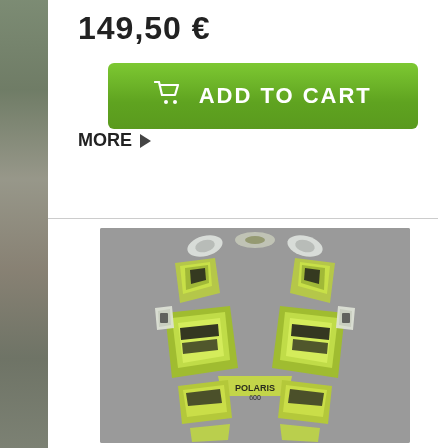149,50 €
ADD TO CART
MORE ▶
[Figure (photo): Product image showing a green and white sticker/decal kit laid out flat on a gray background, featuring symmetrical design pieces for what appears to be a snowmobile or ATV (Polaris 600 branding visible)]